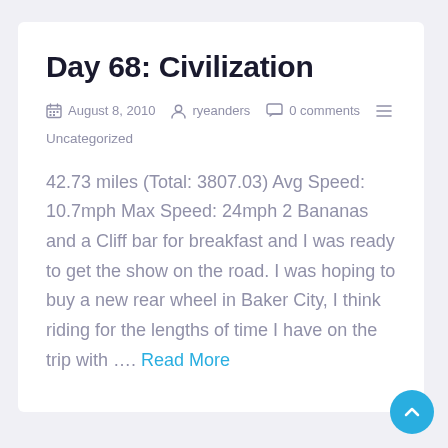Day 68: Civilization
August 8, 2010   ryeanders   0 comments
Uncategorized
42.73 miles (Total: 3807.03) Avg Speed: 10.7mph Max Speed: 24mph 2 Bananas and a Cliff bar for breakfast and I was ready to get the show on the road. I was hoping to buy a new rear wheel in Baker City, I think riding for the lengths of time I have on the trip with ….  Read More